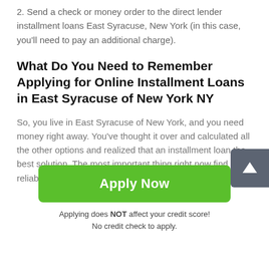2. Send a check or money order to the direct lender installment loans East Syracuse, New York (in this case, you'll need to pay an additional charge).
What Do You Need to Remember Applying for Online Installment Loans in East Syracuse of New York NY
So, you live in East Syracuse of New York, and you need money right away. You've thought it over and calculated all the other options and realized that an installment loan the best solution. The most important thing right now find a reliable licensed lender. Each state has its own terms
Apply Now
Applying does NOT affect your credit score!
No credit check to apply.